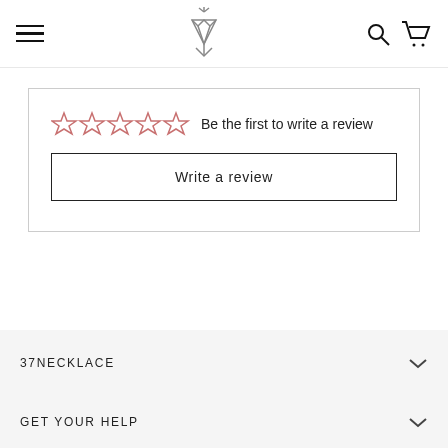37NECKLACE — hamburger menu, logo, search, cart
Be the first to write a review
Write a review
37NECKLACE
GET YOUR HELP